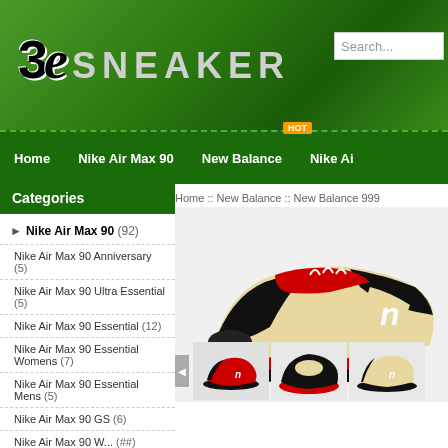[Figure (logo): 3e Sneaker website logo on green gradient background with search box]
Home  Nike Air Max 90  New Balance  Nike Ai...
Home :: New Balance :: New Balance 999
Categories
Nike Air Max 90 (92)
Nike Air Max 90 Anniversary (5)
Nike Air Max 90 Ultra Essential (5)
Nike Air Max 90 Essential (12)
Nike Air Max 90 Essential Womens (7)
Nike Air Max 90 Essential Mens (5)
Nike Air Max 90 GS (6)
Nike Air Max 90 W... (##)
[Figure (photo): New Balance 999 sneaker in black, red, and cream colorway with 999 label on side, shown from side angle. Three thumbnail images below showing different angles.]